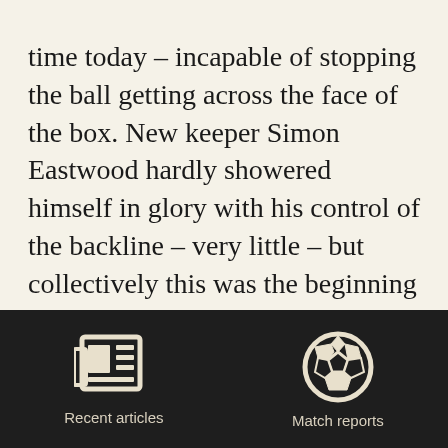time today – incapable of stopping the ball getting across the face of the box. New keeper Simon Eastwood hardly showered himself in glory with his control of the backline – very little – but collectively this was the beginning of errors that continued all afternoon.

That said City should have been level – or had the chance to be level – when Peter Thorne was shoved with two
[Figure (other): Dark footer navigation bar with two icon buttons: 'Recent articles' (newspaper icon) and 'Match reports' (soccer ball icon)]